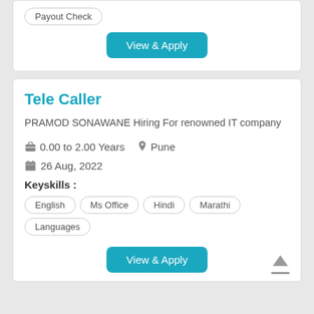Payout Check
View & Apply
Tele Caller
PRAMOD SONAWANE Hiring For renowned IT company
0.00 to 2.00 Years   Pune
26 Aug, 2022
Keyskills :
English
Ms Office
Hindi
Marathi
Languages
View & Apply